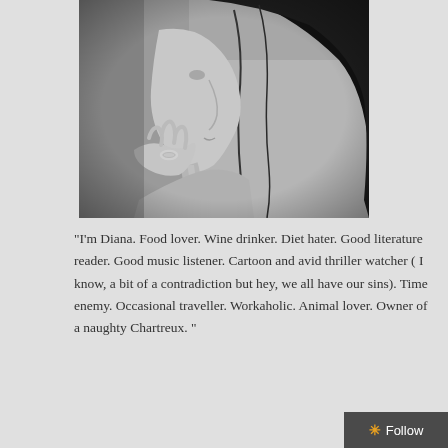[Figure (photo): Black and white photograph of a woman in profile/side view with long dark hair, her hands clasped near her chin, wearing a ring. The image has a shallow depth of field with blurred background.]
"I'm Diana. Food lover. Wine drinker. Diet hater. Good literature reader. Good music listener. Cartoon and avid thriller watcher ( I know, a bit of a contradiction but hey, we all have our sins). Time enemy. Occasional traveller. Workaholic. Animal lover. Owner of a naughty Chartreux. "